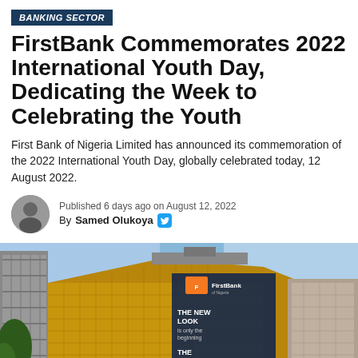BANKING SECTOR
FirstBank Commemorates 2022 International Youth Day, Dedicating the Week to Celebrating the Youth
First Bank of Nigeria Limited has announced its commemoration of the 2022 International Youth Day, globally celebrated today, 12 August 2022.
Published 6 days ago on August 12, 2022
By Samed Olukoya
[Figure (photo): Exterior view of FirstBank building with gold facade and large signage reading 'THE NEW LOOK is only the beginning' and 'THE BOLD STEP says we are putting our best foot forward']